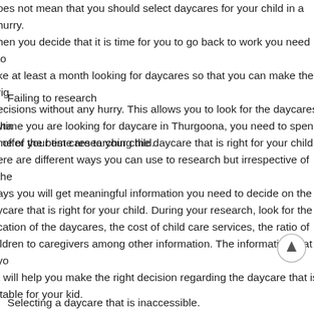oes not mean that you should select daycares for your child in a hurry. hen you decide that it is time for you to go back to work you need to ke at least a month looking for daycares so that you can make the rig ecisions without any hurry. This allows you to look for the daycares tha l offer the best care to your child.
Failing to research
ytime you are looking for daycare in Thurgoona, you need to spend me of your time researching the daycare that is right for your child. ere are different ways you can use to research but irrespective of the ays you will get meaningful information you need to decide on the ycare that is right for your child. During your research, look for the cation of the daycares, the cost of child care services, the ratio of ildren to caregivers among other information. The information that yo t will help you make the right decision regarding the daycare that is itable for your kid.
Selecting a daycare that is inaccessible.